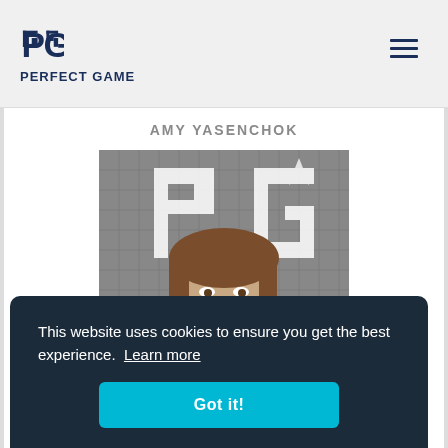PERFECT GAME
AMY YASENCHOK
[Figure (photo): Young female athlete smiling in front of a Perfect Game branded backdrop/net, wearing a dark top]
This website uses cookies to ensure you get the best experience.  Learn more
Got it!